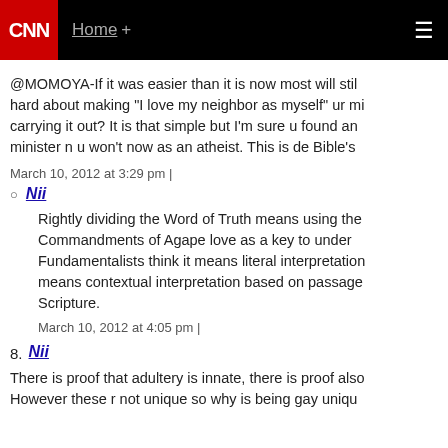CNN | Home +
@MOMOYA-If it was easier than it is now most will still find it hard about making "I love my neighbor as myself" ur minister n u won't now as an atheist. This is de Bible's
March 10, 2012 at 3:29 pm |
Nii
Rightly dividing the Word of Truth means using the Commandments of Agape love as a key to understanding. Fundamentalists think it means literal interpretation. It means contextual interpretation based on passages of Scripture.
March 10, 2012 at 4:05 pm |
8. Nii
There is proof that adultery is innate, there is proof also. However these r not unique so why is being gay uniqu